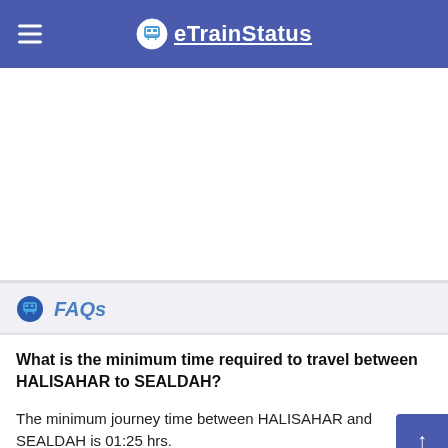eTrainStatus
[Figure (screenshot): White advertisement/blank area below the header navigation bar]
FAQs
What is the minimum time required to travel between HALISAHAR to SEALDAH?
The minimum journey time between HALISAHAR and SEALDAH is 01:25 hrs.